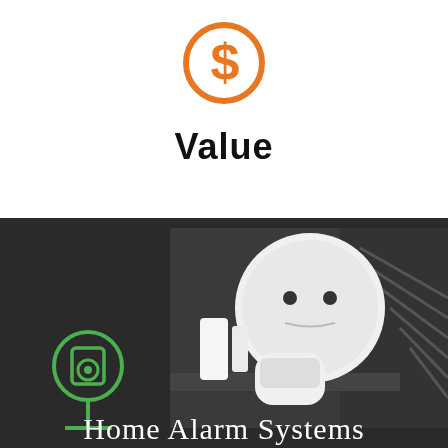[Figure (logo): Orange dollar sign / currency symbol icon in a circular design, orange outline style]
Value
[Figure (photo): Dark grey background photo showing white home security/alarm system components: a round smoke detector, door/window sensor pieces, and a motion detector sensor, arranged on a reflective surface inside a home interior with spiral staircase visible. A green smart home appliance icon is visible on the left.]
Home Alarm Systems